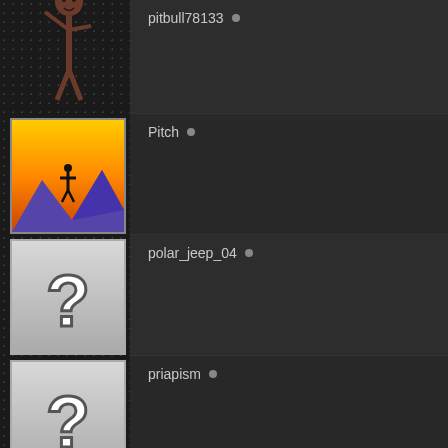[Figure (screenshot): Game/community user list interface with dark theme showing user avatars and usernames with status indicators]
pitbull78133 •
Pitch •
polar_jeep_04 •
priapism •
ProjectZJOM617T •
ptownTSI •
PurpleZJ •